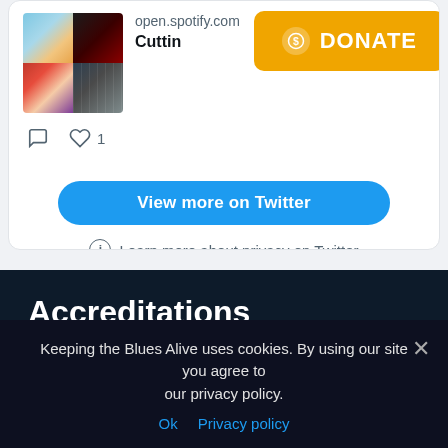[Figure (screenshot): Partial Twitter/social media card showing a Spotify album grid image with open.spotify.com URL and 'Cuttin' text visible, plus a yellow Donate button overlay]
open.spotify.com
Cuttin
1
View more on Twitter
Learn more about privacy on Twitter
Accreditations
Keeping the Blues Alive uses cookies. By using our site you agree to our privacy policy.
Ok  Privacy policy